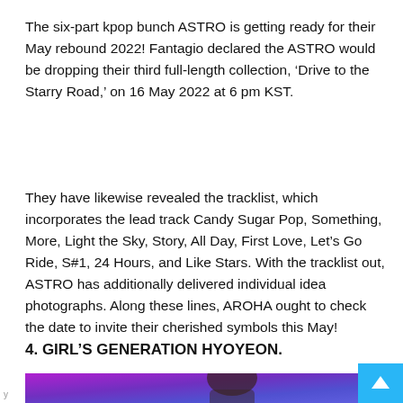The six-part kpop bunch ASTRO is getting ready for their May rebound 2022! Fantagio declared the ASTRO would be dropping their third full-length collection, ‘Drive to the Starry Road,’ on 16 May 2022 at 6 pm KST.
They have likewise revealed the tracklist, which incorporates the lead track Candy Sugar Pop, Something, More, Light the Sky, Story, All Day, First Love, Let’s Go Ride, S#1, 24 Hours, and Like Stars. With the tracklist out, ASTRO has additionally delivered individual idea photographs. Along these lines, AROHA ought to check the date to invite their cherished symbols this May!
4. GIRL’S GENERATION HYOYEON.
[Figure (photo): Photo of a woman with dark hair and a sparkly outfit against a purple/violet gradient background, partially visible at the bottom of the page.]